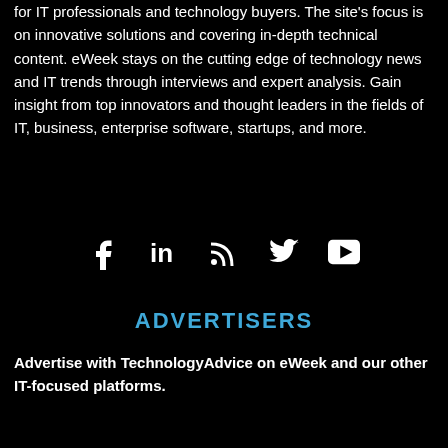for IT professionals and technology buyers. The site's focus is on innovative solutions and covering in-depth technical content. eWeek stays on the cutting edge of technology news and IT trends through interviews and expert analysis. Gain insight from top innovators and thought leaders in the fields of IT, business, enterprise software, startups, and more.
[Figure (other): Social media icons: Facebook, LinkedIn, RSS, Twitter, YouTube]
ADVERTISERS
Advertise with TechnologyAdvice on eWeek and our other IT-focused platforms.
[Figure (other): Partial blue rounded button (top visible) and a white advertisement overlay box with close X button]